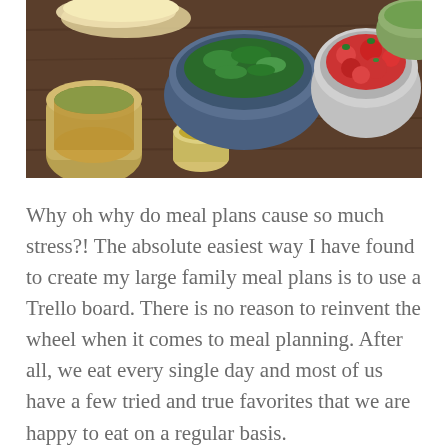[Figure (photo): Overhead view of food ingredients in bowls on a wooden table, including chopped green vegetables, diced tomatoes, and condiments in jars and small bowls.]
Why oh why do meal plans cause so much stress?! The absolute easiest way I have found to create my large family meal plans is to use a Trello board. There is no reason to reinvent the wheel when it comes to meal planning. After all, we eat every single day and most of us have a few tried and true favorites that we are happy to eat on a regular basis.